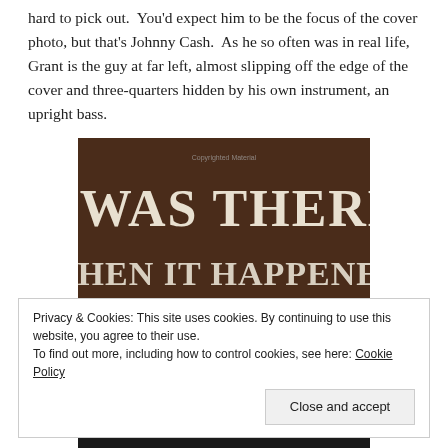hard to pick out.  You'd expect him to be the focus of the cover photo, but that's Johnny Cash.  As he so often was in real life, Grant is the guy at far left, almost slipping off the edge of the cover and three-quarters hidden by his own instrument, an upright bass.
[Figure (illustration): Book cover of 'I Was There When It Happened: My Life with Johnny Cash' — dark brown background with large distressed white serif text reading 'I WAS THERE WHEN IT HAPPENED' and below in a tan/khaki band the text 'MY LIFE WITH JOHNNY CASH'. Small text 'Copyrighted Material' appears near the top.]
Privacy & Cookies: This site uses cookies. By continuing to use this website, you agree to their use.
To find out more, including how to control cookies, see here: Cookie Policy
Close and accept